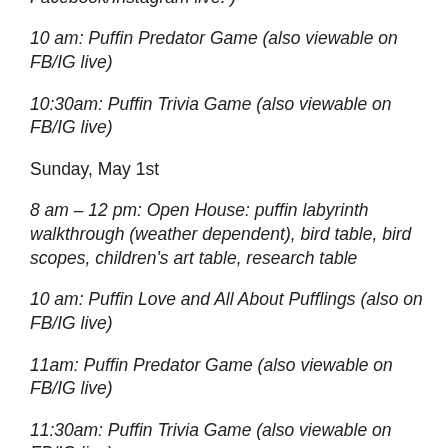9:30 am: How to Spot a Puffin (also available on Facebook/Instagram live. )
10 am: Puffin Predator Game (also viewable on FB/IG live)
10:30am: Puffin Trivia Game (also viewable on FB/IG live)
Sunday, May 1st
8 am – 12 pm: Open House: puffin labyrinth walkthrough (weather dependent), bird table, bird scopes, children's art table, research table
10 am: Puffin Love and All About Pufflings (also on FB/IG live)
11am: Puffin Predator Game (also viewable on FB/IG live)
11:30am: Puffin Trivia Game (also viewable on FB/IG live)
The event takes place rain or shine. Dress accordingly